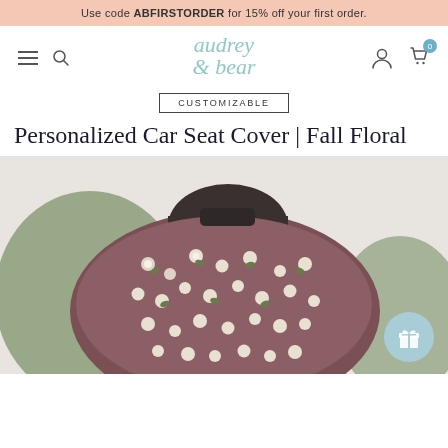Use code ABFIRSTORDER for 15% off your first order.
[Figure (logo): Audrey & Bear script logo in teal/mint color]
CUSTOMIZABLE
Personalized Car Seat Cover | Fall Floral
[Figure (photo): A baby car seat cover with a dark mauve/brown background and white floral pattern (fall floral design), draped over a car seat. Background includes sage green knit fabric.]